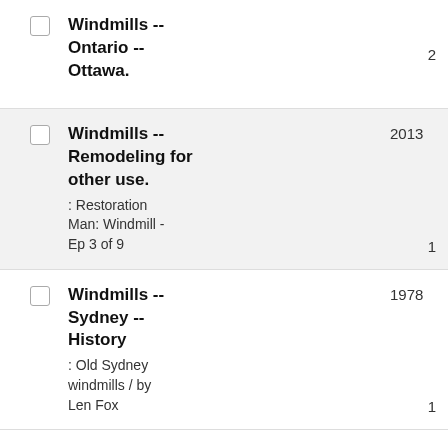Windmills -- Ontario -- Ottawa. 2
Windmills -- Remodeling for other use. 2013 : Restoration Man: Windmill - Ep 3 of 9 1
Windmills -- Sydney -- History 1978 : Old Sydney windmills / by Len Fox 1